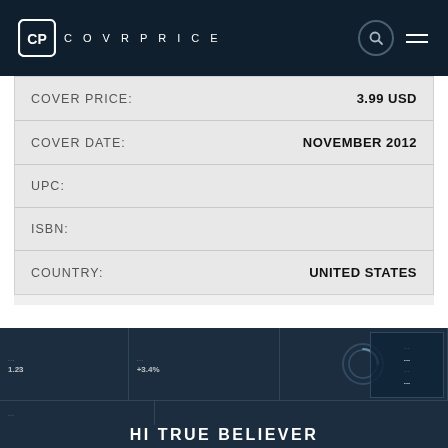COVRPRICE
| Field | Value |
| --- | --- |
| COVER PRICE: | 3.99 USD |
| COVER DATE: | NOVEMBER 2012 |
| UPC: |  |
| ISBN: |  |
| COUNTRY: | UNITED STATES |
[Figure (screenshot): Dark themed website section showing a blurred background with grid cells containing data and a circular loading/logo icon in the center, with text 'HI TRUE BELIEVER' at the bottom]
HI TRUE BELIEVER